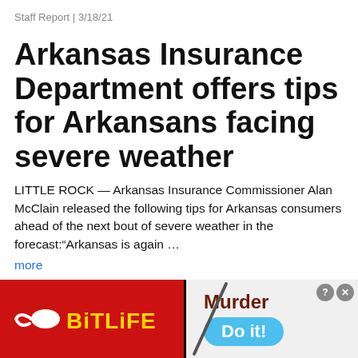Staff Report | 3/18/21
Arkansas Insurance Department offers tips for Arkansans facing severe weather
LITTLE ROCK — Arkansas Insurance Commissioner Alan McClain released the following tips for Arkansas consumers ahead of the next bout of severe weather in the forecast:“Arkansas is again …
more
[Figure (advertisement): BitLife game advertisement with red background on left showing BitLife logo with sperm icon in yellow, and right side showing 'Murder' text and 'Do it!' blue button with close/help icons and diagonal slash graphic]